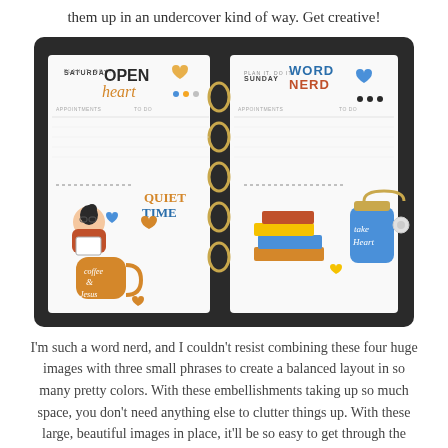them up in an undercover kind of way. Get creative!
[Figure (photo): Open planner/ring binder with decorative stickers including an 'Open Heart' heading for Saturday, 'Word Nerd' for Sunday, a reading girl character, coffee & Jesus mug, stacked books, 'Quiet Time' label, and 'Take Heart' blue jar.]
I'm such a word nerd, and I couldn't resist combining these four huge images with three small phrases to create a balanced layout in so many pretty colors. With these embellishments taking up so much space, you don't need anything else to clutter things up. With these large, beautiful images in place, it'll be so easy to get through the week! What